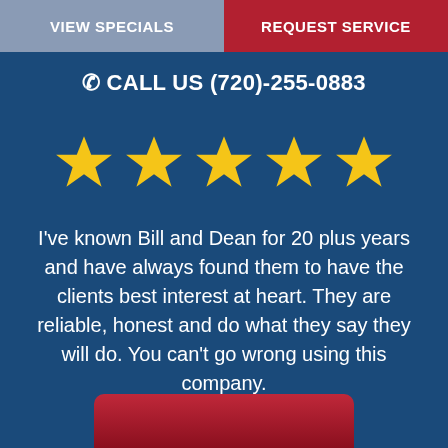VIEW SPECIALS | REQUEST SERVICE
CALL US (720)-255-0883
[Figure (other): Five yellow star rating icons]
I've known Bill and Dean for 20 plus years and have always found them to have the clients best interest at heart. They are reliable, honest and do what they say they will do. You can't go wrong using this company.